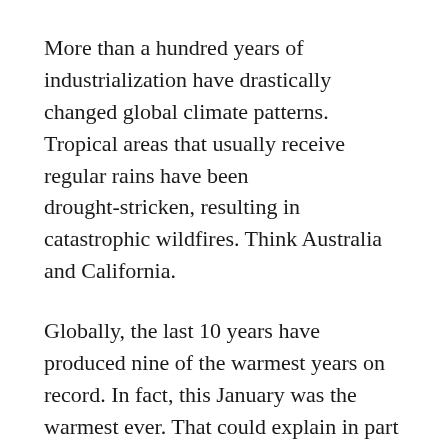More than a hundred years of industrialization have drastically changed global climate patterns. Tropical areas that usually receive regular rains have been drought-stricken, resulting in catastrophic wildfires. Think Australia and California.
Globally, the last 10 years have produced nine of the warmest years on record. In fact, this January was the warmest ever. That could explain in part why many skiers, ice skaters, and ice fishermen far and wide had to feel abandoned by the nearly winterless winter weather.
The torrid Monday will still be Monday. It is t...